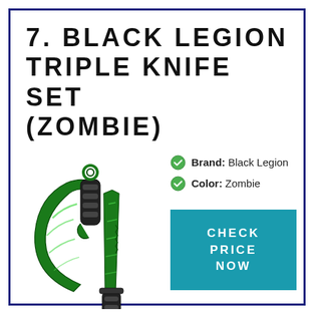7. BLACK LEGION TRIPLE KNIFE SET (ZOMBIE)
[Figure (photo): Photo of Black Legion Triple Knife Set in Zombie (green) color — two large curved karambit-style knives and one straight blade with black handles and vivid green patterned blades]
Brand: Black Legion
Color: Zombie
CHECK PRICE NOW